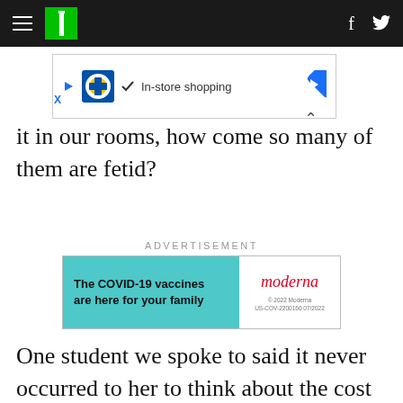HuffPost navigation bar with hamburger menu, HuffPost logo, Facebook and Twitter icons
[Figure (screenshot): Lidl advertisement banner: play button, Lidl logo, checkmark, 'In-store shopping', blue diamond arrow icon, close and X buttons]
it in our rooms, how come so many of them are fetid?
ADVERTISEMENT
[Figure (screenshot): Moderna COVID-19 vaccine advertisement: teal left panel with bold text 'The COVID-19 vaccines are here for your family', white right panel with Moderna logo in red and fine print '© 2022 Moderna US-COV-2200160 07/2022']
One student we spoke to said it never occurred to her to think about the cost of accommodation when she was choosing where to study. Who does think like that at the age of 16 or 17, when they've never had to stand on their own two feet